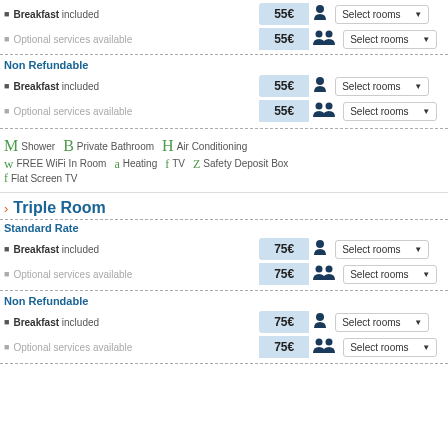Breakfast included
Optional services available
Non Refundable
Breakfast included
Optional services available
[Figure (infographic): Amenity icons: Shower, Private Bathroom, Air Conditioning, FREE WiFi In Room, Heating, TV, Safety Deposit Box, Flat Screen TV]
Triple Room
Standard Rate
Breakfast included
Optional services available
Non Refundable
Breakfast included
Optional services available